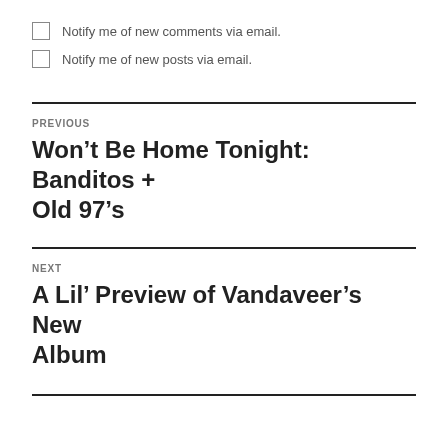Notify me of new comments via email.
Notify me of new posts via email.
PREVIOUS
Won’t Be Home Tonight: Banditos + Old 97’s
NEXT
A Lil’ Preview of Vandaveer’s New Album